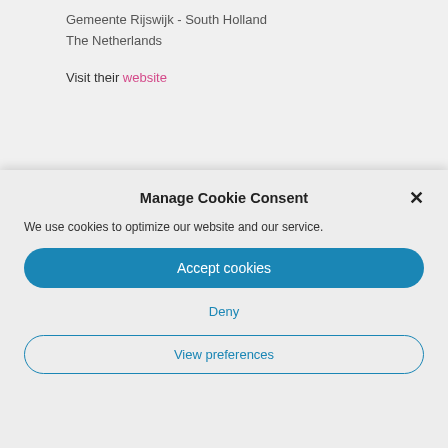Gemeente Rijswijk - South Holland
The Netherlands
Visit their website
Manage Cookie Consent
We use cookies to optimize our website and our service.
Accept cookies
Deny
View preferences